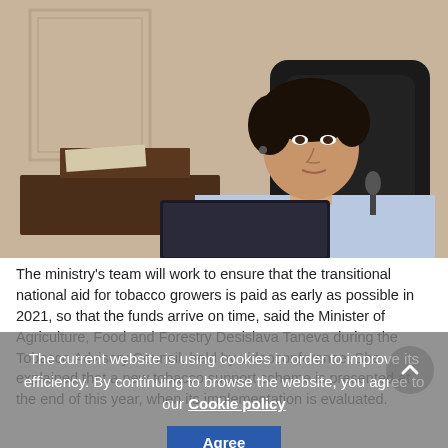[Figure (photo): Woman with dark curly hair seated at a desk in a formal office setting with a dark chair and light-colored wall paneling, looking at a laptop screen. She is wearing a light blue top.]
The ministry's team will work to ensure that the transitional national aid for tobacco growers is paid as early as possible in 2021, so that the funds arrive on time, said the Minister of Agriculture, Food and Forestry Desislava Taneva during the Tobacco Advisory Council, held by videoconference. She explained that a new tobacco support scheme is presented at the end of this year, when its implementation is evaluated.
The current website is using cookies in order to improve its efficiency. By continuing to browse the website, you agree to our Cookie policy